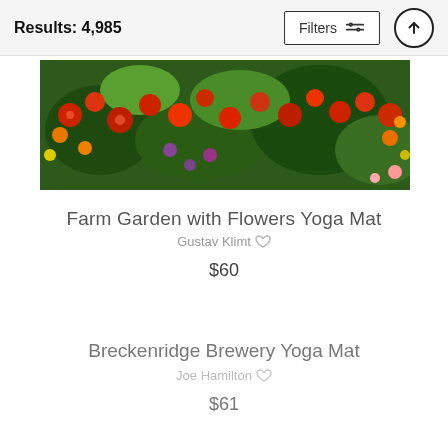Results: 4,985
[Figure (photo): Horizontal photo of a garden with bright red and orange flowers, green foliage — Gustav Klimt Farm Garden with Flowers]
Farm Garden with Flowers Yoga Mat
Gustav Klimt ♡
$60
Breckenridge Brewery Yoga Mat
Joe Hamilton ♡
$61